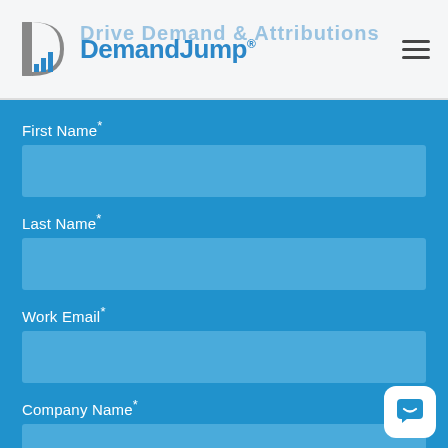[Figure (logo): DemandJump logo with stylized D icon and blue wordmark text 'DemandJump' with registered trademark symbol]
Drive Demand & Attributions
First Name *
Last Name *
Work Email *
Company Name *